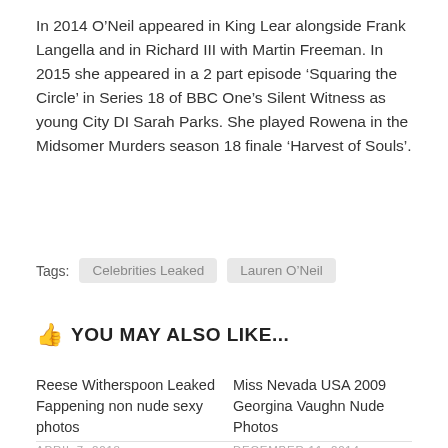In 2014 O’Neil appeared in King Lear alongside Frank Langella and in Richard III with Martin Freeman. In 2015 she appeared in a 2 part episode ‘Squaring the Circle’ in Series 18 of BBC One’s Silent Witness as young City DI Sarah Parks. She played Rowena in the Midsomer Murders season 18 finale ‘Harvest of Souls’.
Tags: Celebrities Leaked    Lauren O’Neil
YOU MAY ALSO LIKE...
Reese Witherspoon Leaked Fappening non nude sexy photos
APRIL 7, 2018
Miss Nevada USA 2009 Georgina Vaughn Nude Photos
DECEMBER 11, 2014